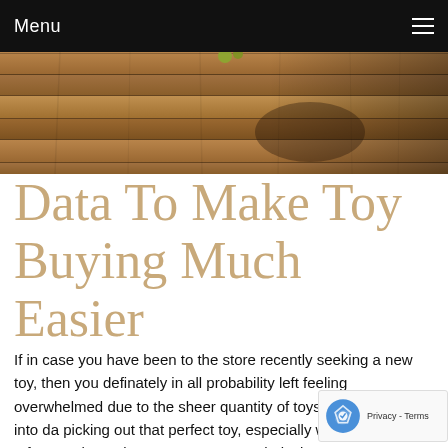Menu
[Figure (photo): Wooden plank surface with toy items partially visible at top, warm brown tones]
Data To Make Toy Buying Much Easier
If in case you have been to the store recently seeking a new toy, then you definately in all probability left feeling overwhelmed due to the sheer quantity of toys. It may develop into da picking out that perfect toy, especially when every part p fortune these days. Do not get caught losing money on toys any